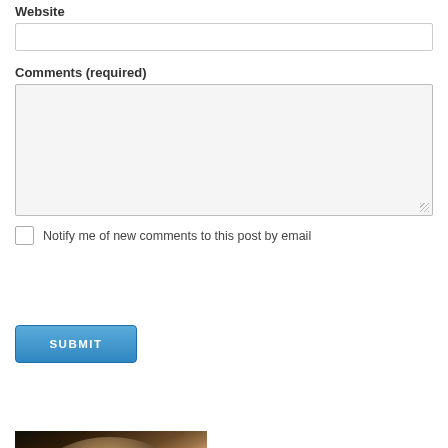Website
[Figure (screenshot): Empty text input field for Website]
Comments (required)
[Figure (screenshot): Large empty textarea for comments with resize handle]
Notify me of new comments to this post by email
[Figure (screenshot): Blue SUBMIT button]
[Figure (photo): Photograph of a person with brown hair wearing glasses, partially visible, dark background]